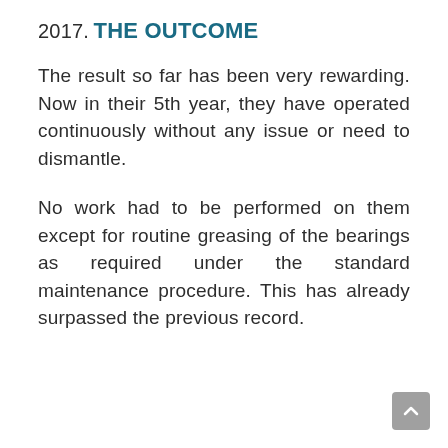2017.
THE OUTCOME
The result so far has been very rewarding. Now in their 5th year, they have operated continuously without any issue or need to dismantle.
No work had to be performed on them except for routine greasing of the bearings as required under the standard maintenance procedure. This has already surpassed the previous record.